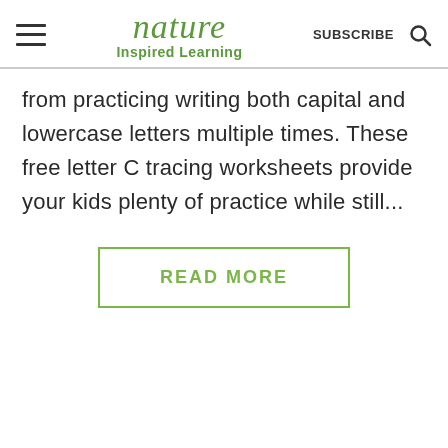nature Inspired Learning | SUBSCRIBE
from practicing writing both capital and lowercase letters multiple times. These free letter C tracing worksheets provide your kids plenty of practice while still...
READ MORE